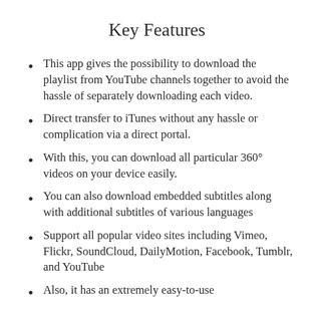Key Features
This app gives the possibility to download the playlist from YouTube channels together to avoid the hassle of separately downloading each video.
Direct transfer to iTunes without any hassle or complication via a direct portal.
With this, you can download all particular 360° videos on your device easily.
You can also download embedded subtitles along with additional subtitles of various languages
Support all popular video sites including Vimeo, Flickr, SoundCloud, DailyMotion, Facebook, Tumblr, and YouTube
Also, it has an extremely easy-to-use